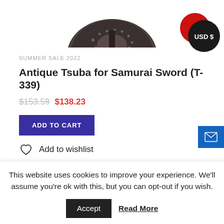[Figure (photo): Partial bottom view of an antique tsuba (Japanese sword guard), dark metallic with decorative details, cropped at top of page]
[Figure (infographic): Currency badge showing 'USD $' with red and black overlapping circles]
SUMMER SALE 2022
Antique Tsuba for Samurai Sword (T-339)
$153.59  $138.23
ADD TO CART
Add to wishlist
This website uses cookies to improve your experience. We'll assume you're ok with this, but you can opt-out if you wish.
Accept  Read More